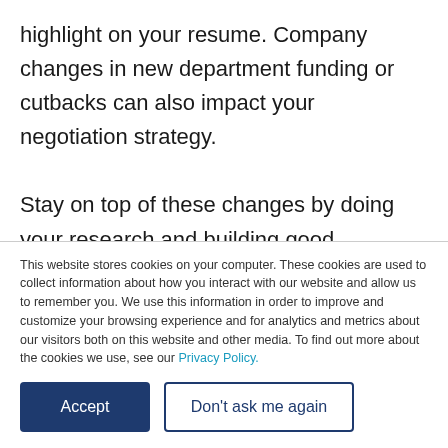highlight on your resume. Company changes in new department funding or cutbacks can also impact your negotiation strategy.

Stay on top of these changes by doing your research and building good relationships with your recruiter and key decision makers. You can leverage the information to build a case for a
This website stores cookies on your computer. These cookies are used to collect information about how you interact with our website and allow us to remember you. We use this information in order to improve and customize your browsing experience and for analytics and metrics about our visitors both on this website and other media. To find out more about the cookies we use, see our Privacy Policy.
Accept
Don't ask me again